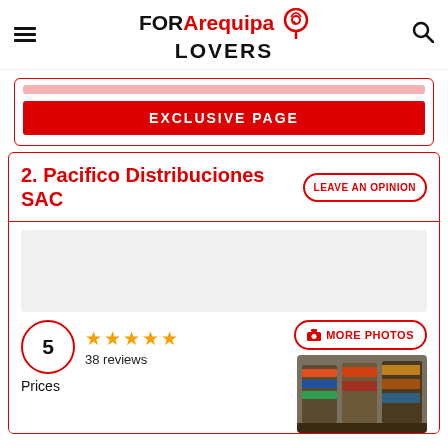FOR Arequipa LOVERS
EXCLUSIVE PAGE
2. Pacifico Distribuciones SAC
LEAVE AN OPINION
[Figure (photo): Warehouse/store interior with shelves of products]
5  38 reviews
MORE PHOTOS
Prices